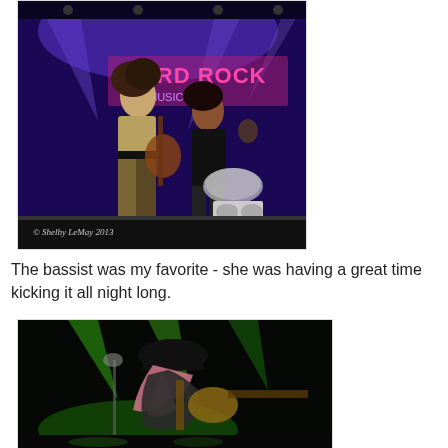[Figure (photo): Concert photo of band performing on stage with purple/blue stage lighting. Two performers in foreground, one playing bass guitar. Drum kit and boombox visible in background. Sign reading 'HARD ROCK' partially visible. Watermark: © Shelby LeMay 2013.]
The bassist was my favorite - she was having a great time kicking it all night long.
[Figure (photo): Concert photo of bassist performing on stage with green stage lighting. Performer wearing black hat, bent over instrument. Pink/blonde hair visible. Guitar neck visible on right side.]